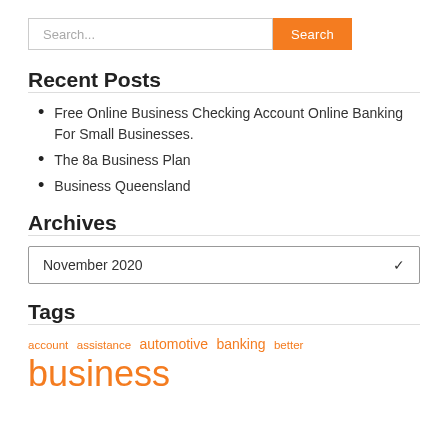Search...
Recent Posts
Free Online Business Checking Account Online Banking For Small Businesses.
The 8a Business Plan
Business Queensland
Archives
November 2020
Tags
account   assistance   automotive   banking   better   business